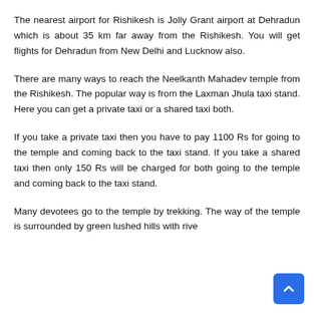The nearest airport for Rishikesh is Jolly Grant airport at Dehradun which is about 35 km far away from the Rishikesh. You will get flights for Dehradun from New Delhi and Lucknow also.
There are many ways to reach the Neelkanth Mahadev temple from the Rishikesh. The popular way is from the Laxman Jhula taxi stand. Here you can get a private taxi or a shared taxi both.
If you take a private taxi then you have to pay 1100 Rs for going to the temple and coming back to the taxi stand. If you take a shared taxi then only 150 Rs will be charged for both going to the temple and coming back to the taxi stand.
Many devotees go to the temple by trekking. The way of the temple is surrounded by green lushed hills with rive